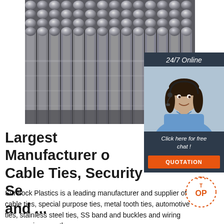[Figure (photo): Photo of stacked metallic/aluminium rods or bars arranged in a warehouse or storage setting, viewed from a slight angle showing the circular ends of the rods.]
[Figure (photo): Chat widget with a woman wearing a headset (customer support representative) smiling, with a dark navy background. Header says '24/7 Online', footer says 'Click here for free chat!' and an orange 'QUOTATION' button.]
Largest Manufacturer of Cable Ties, Security Seals and ...
Surelock Plastics is a leading manufacturer and supplier of cable ties, special purpose ties, metal tooth ties, automotive ties, stainless steel ties, SS band and buckles and wiring accessories over the
[Figure (logo): TOP badge/logo in orange with dotted circle border]